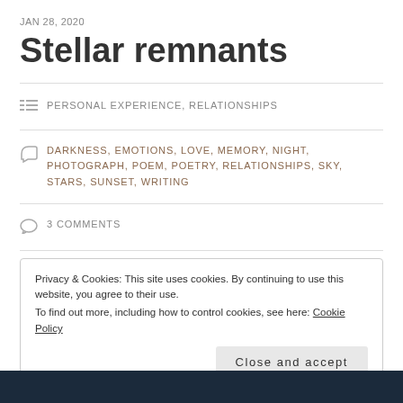JAN 28, 2020
Stellar remnants
PERSONAL EXPERIENCE, RELATIONSHIPS
DARKNESS, EMOTIONS, LOVE, MEMORY, NIGHT, PHOTOGRAPH, POEM, POETRY, RELATIONSHIPS, SKY, STARS, SUNSET, WRITING
3 COMMENTS
Privacy & Cookies: This site uses cookies. By continuing to use this website, you agree to their use.
To find out more, including how to control cookies, see here: Cookie Policy
[Figure (photo): Dark navy/night sky image at bottom of page]